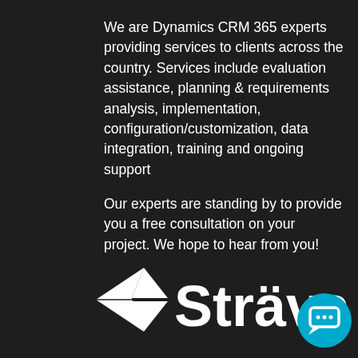We are Dynamics CRM 365 experts providing services to clients across the country. Services include evaluation assistance, planning & requirements analysis, implementation, configuration/customization, data integration, training and ongoing support
Our experts are standing by to provide you a free consultation on your project. We hope to hear from you!
[Figure (logo): Sträva logo with arrow/paper plane icon on left and 'Strava' text with umlaut over the a, plus a cyan chat bubble icon on the right]